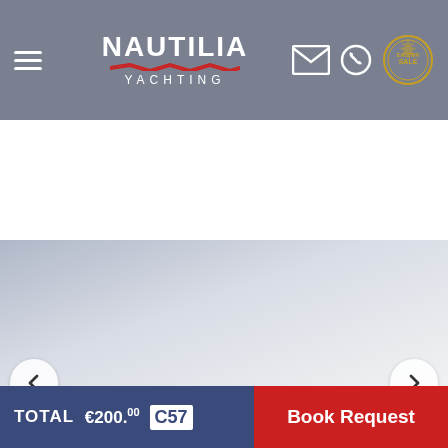[Figure (screenshot): Nautilia Yachting website header with hamburger menu, logo, email icon, WhatsApp icon, and a gold circular badge]
[Figure (screenshot): Image slider area with left and right navigation arrow buttons on a light grey gradient background]
TOTAL € 200.00 C57
Book Request